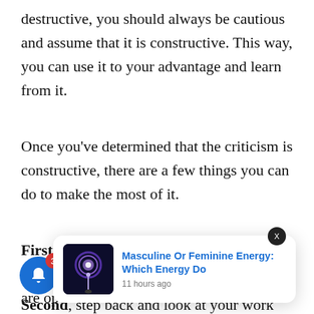destructive, you should always be cautious and assume that it is constructive. This way, you can use it to your advantage and learn from it.
Once you've determined that the criticism is constructive, there are a few things you can do to make the most of it.
First, thank the person for taking the time to give you feedback. This shows that you are open to hea
Second, step back and look at your work